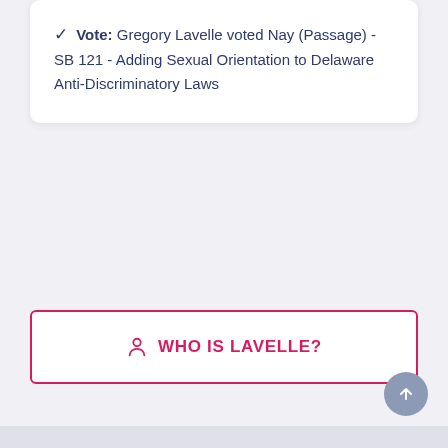✓ Vote: Gregory Lavelle voted Nay (Passage) - SB 121 - Adding Sexual Orientation to Delaware Anti-Discriminatory Laws
👤 WHO IS LAVELLE?